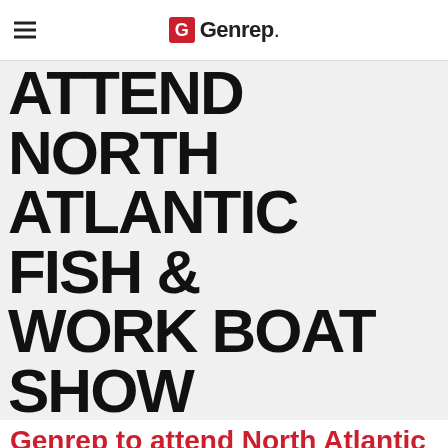G Genrep.
[Figure (illustration): Large decorative text reading ATTEND NORTH ATLANTIC FISH & WORK BOAT SHOW in bold black type on light grey background]
Genrep to attend North Atlantic Fish & Work Boat Show
Posted on November 12, 2018 by Ashley · Uncategorized